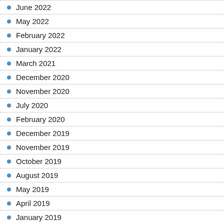June 2022
May 2022
February 2022
January 2022
March 2021
December 2020
November 2020
July 2020
February 2020
December 2019
November 2019
October 2019
August 2019
May 2019
April 2019
January 2019
December 2018